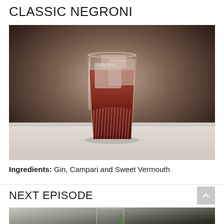CLASSIC NEGRONI
[Figure (photo): A classic Negroni cocktail in a ribbed rocks glass filled with large ice cubes and deep red liquid, sitting on a white marble surface with blurred bar background]
Ingredients: Gin, Campari and Sweet Vermouth
NEXT EPISODE
[Figure (photo): Partial view of a clear glass with a sprig of rosemary or herb, on a dark background — next episode preview]